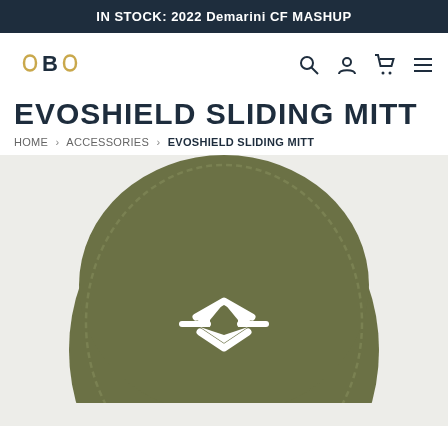IN STOCK: 2022 Demarini CF MASHUP
[Figure (logo): B logo mark with stylized B and circular brackets in navy and gold]
EVOSHIELD SLIDING MITT
HOME > ACCESSORIES > EVOSHIELD SLIDING MITT
[Figure (photo): Close-up top view of an olive/army green EvoShield sliding mitt showing the EvoShield logo (diamond shape with chevrons) stitched in white on the suede surface]